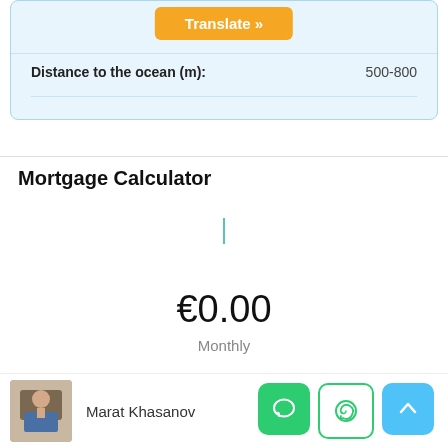| Property Detail | Value |
| --- | --- |
| Distance to the ocean (m): | 500-800 |
Mortgage Calculator
€0.00
Monthly
Marat Khasanov